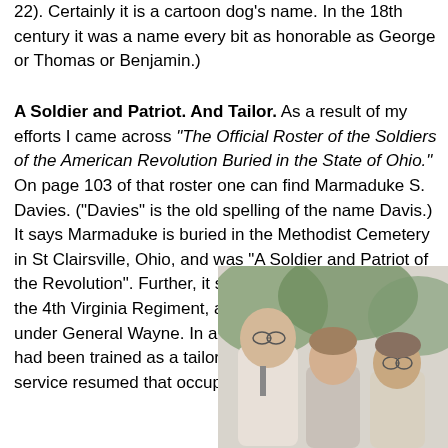22). Certainly it is a cartoon dog's name. In the 18th century it was a name every bit as honorable as George or Thomas or Benjamin.)
A Soldier and Patriot. And Tailor. As a result of my efforts I came across "The Official Roster of the Soldiers of the American Revolution Buried in the State of Ohio." On page 103 of that roster one can find Marmaduke S. Davies. ("Davies" is the old spelling of the name Davis.) It says Marmaduke is buried in the Methodist Cemetery in St Clairsville, Ohio, and was "A Soldier and Patriot of the Revolution". Further, it says he served in 1781-82 in the 4th Virginia Regiment, and again in 1790-93 in Ohio under General Wayne. In addition it mentions that he had been trained as a tailor, and after his military service resumed that occupation.
[Figure (photo): Black and white or faded color photograph of three people (two men and a woman or two women and a man) posing together outdoors with foliage in the background.]